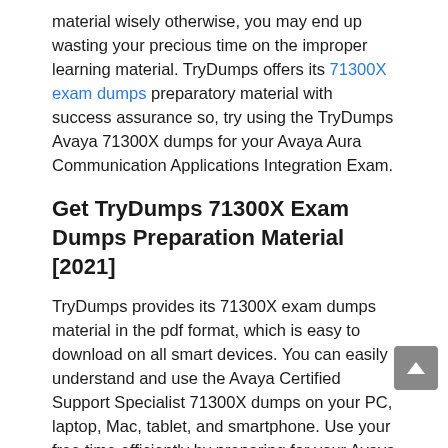material wisely otherwise, you may end up wasting your precious time on the improper learning material. TryDumps offers its 71300X exam dumps preparatory material with success assurance so, try using the TryDumps Avaya 71300X dumps for your Avaya Aura Communication Applications Integration Exam.
Get TryDumps 71300X Exam Dumps Preparation Material [2021]
TryDumps provides its 71300X exam dumps material in the pdf format, which is easy to download on all smart devices. You can easily understand and use the Avaya Certified Support Specialist 71300X dumps on your PC, laptop, Mac, tablet, and smartphone. Use your free time efficiently by preparing for your Avaya